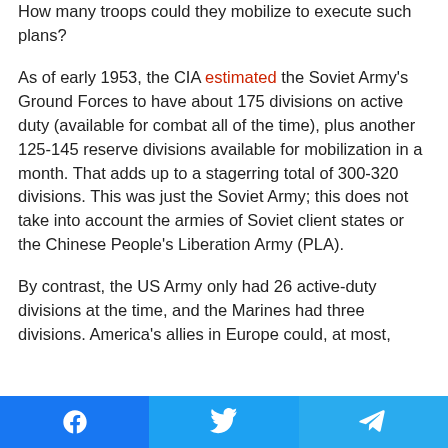How many troops could they mobilize to execute such plans?

As of early 1953, the CIA estimated the Soviet Army's Ground Forces to have about 175 divisions on active duty (available for combat all of the time), plus another 125-145 reserve divisions available for mobilization in a month. That adds up to a staggering total of 300-320 divisions. This was just the Soviet Army; this does not take into account the armies of Soviet client states or the Chinese People's Liberation Army (PLA).

By contrast, the US Army only had 26 active-duty divisions at the time, and the Marines had three divisions. America's allies in Europe could, at most, add about two dozen divisions.